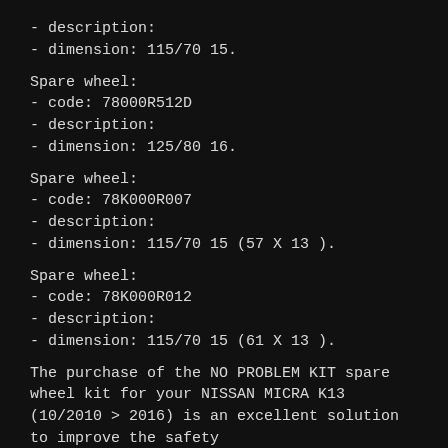- description:
- dimension: 115/70 15.
Spare wheel:
- code: 78000R512D
- description:
- dimension: 125/80 16.
Spare wheel:
- code: 78K000R007
- description:
- dimension: 115/70 15 (57 X 13 ).
Spare wheel:
- code: 78K000R012
- description:
- dimension: 115/70 15 (61 X 13 ).
The purchase of the NO PROBLEM KIT spare wheel kit for your NISSAN MICRA K13 (10/2010 > 2016) is an excellent solution to improve the safety